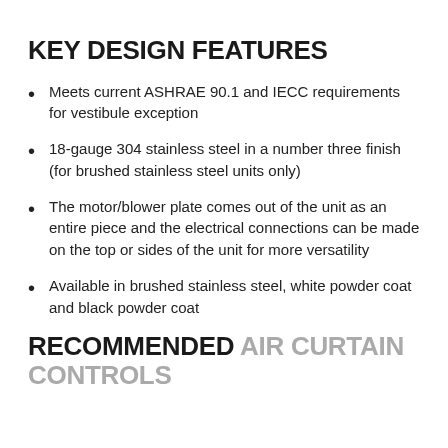KEY DESIGN FEATURES
Meets current ASHRAE 90.1 and IECC requirements for vestibule exception
18-gauge 304 stainless steel in a number three finish (for brushed stainless steel units only)
The motor/blower plate comes out of the unit as an entire piece and the electrical connections can be made on the top or sides of the unit for more versatility
Available in brushed stainless steel, white powder coat and black powder coat
RECOMMENDED AIR CURTAIN CONTROLS
[Figure (screenshot): Cookie consent overlay popup with blue background. Title: 'Targeting Cookies'. Body text: 'By viewing our site you accept our terms of use & privacy policy.' Button: 'I Agree'. Orange X close button in top-right corner.]